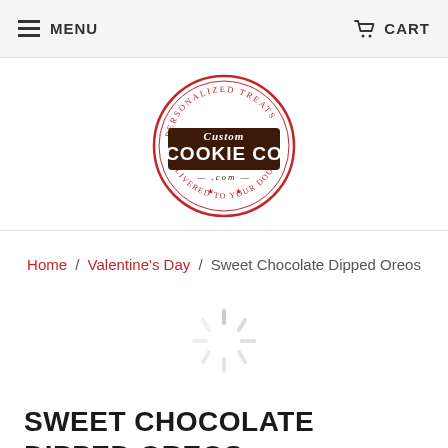MENU  CART
[Figure (logo): Custom Cookie Co logo - circular stamp design with red border text reading PERSONALIZED TREATS and DELIVERED TO YOUR DOOR, with CUSTOM COOKIE CO in bold dark letters and .com below]
Home / Valentine's Day / Sweet Chocolate Dipped Oreos
[Figure (other): Loading spinner / throbber animation graphic in light gray]
SWEET CHOCOLATE DIPPED OREOS